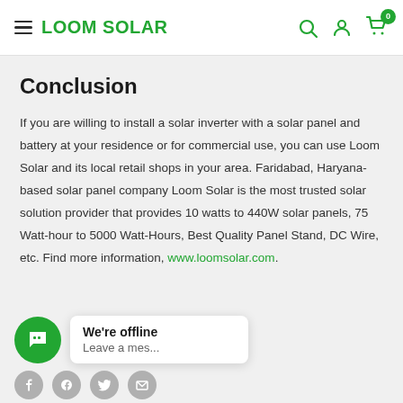LOOM SOLAR
Conclusion
If you are willing to install a solar inverter with a solar panel and battery at your residence or for commercial use, you can use Loom Solar and its local retail shops in your area. Faridabad, Haryana-based solar panel company Loom Solar is the most trusted solar solution provider that provides 10 watts to 440W solar panels, 75 Watt-hour to 5000 Watt-Hours, Best Quality Panel Stand, DC Wire, etc. Find more information, www.loomsolar.com.